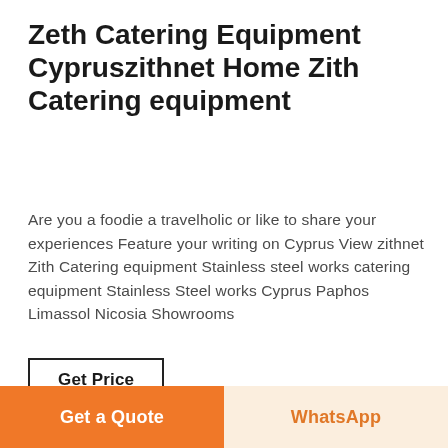Zeth Catering Equipment Cypruszithnet Home Zith Catering equipment
Are you a foodie a travelholic or like to share your experiences Feature your writing on Cyprus View zithnet Zith Catering equipment Stainless steel works catering equipment Stainless Steel works Cyprus Paphos Limassol Nicosia Showrooms
Get Price
[Figure (photo): Close-up black and white photo of stainless steel catering equipment tubing and metal parts]
Get a Quote
WhatsApp